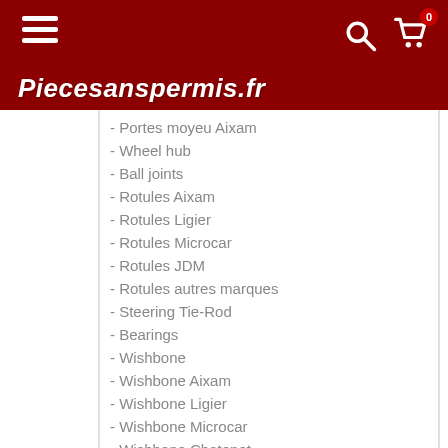Piecesanspermis.fr
- Portes moyeu Aixam
- Wheel hub
- Ball joints
- Rotules Aixam
- Rotules Ligier
- Rotules Microcar
- Rotules JDM
- Rotules autres marques
- Steering Tie-Rod
- Bearings
- Wishbone
- Wishbone Aixam
- Wishbone Ligier
- Wishbone Microcar
- Wishbone Chatenet
- Wishbone JDM
- Wishbone Bellier
- Wishbone Grecav